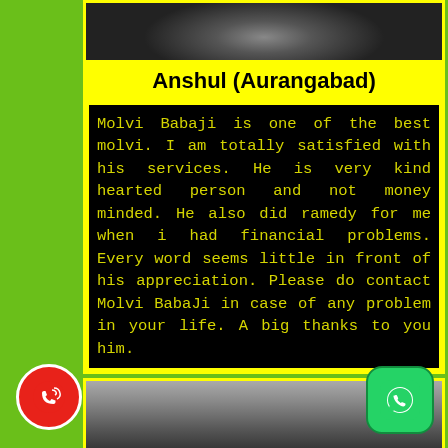[Figure (photo): Blurred person photo at top of card]
Anshul (Aurangabad)
Molvi Babaji is one of the best molvi. I am totally satisfied with his services. He is very kind hearted person and not money minded. He also did ramedy for me when i had financial problems. Every word seems little in front of his appreciation. Please do contact Molvi BabaJi in case of any problem in your life. A big thanks to you him.
[Figure (photo): Blurred person photo at bottom of card]